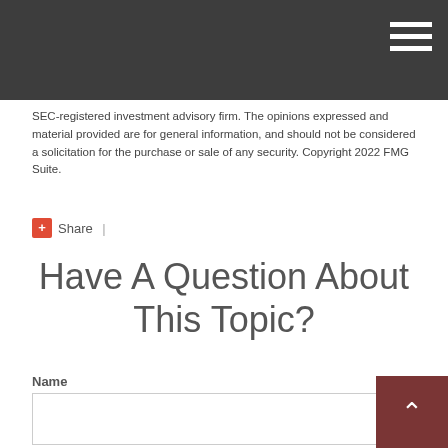SEC-registered investment advisory firm. The opinions expressed and material provided are for general information, and should not be considered a solicitation for the purchase or sale of any security. Copyright 2022 FMG Suite.
Share |
Have A Question About This Topic?
Name
Email